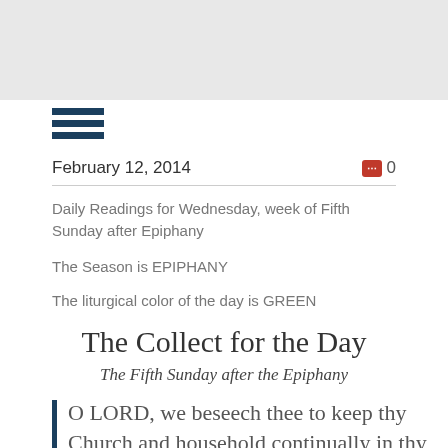[Figure (other): Hamburger menu icon with three dark blue horizontal bars]
February 12, 2014
0
Daily Readings for Wednesday, week of Fifth Sunday after Epiphany
The Season is EPIPHANY
The liturgical color of the day is GREEN
The Collect for the Day
The Fifth Sunday after the Epiphany
O LORD, we beseech thee to keep thy Church and household continually in thy true religion; that